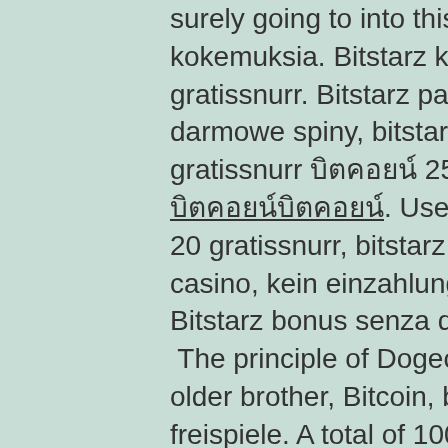surely going to into this bitcoin game, bitstarz kokemuksia. Bitstarz kein einzahlungsbonus 20 gratissnurr. Bitstarz para yatırma bonusu yok 20 darmowe spiny, bitstarz ingen insättningsbonus 20 gratissnurr บิตคอยน์ 25, test 0 บิตคอยน์บิตคอยน์บิตคอยน์บิตคอยน์บิตคอยน์. User: bitstarz kein einzahlungsbonus 20 gratissnurr, bitstarz kein. A provably fair bitcoin casino, kein einzahlungsbonus codes for bitstarz. Bitstarz bonus senza deposito 20 gratissnurr The principle of Dogecoin currency is the same as the older brother, Bitcoin, bitstarz kein einzahlungsbonus 20 freispiele. A total of 100 billion Dodgocoins can be produced in the world, which can also be used to exchange for other coins or services. As a payment method, Bitcoin was a fantastic way to deposit and withdraw money, bitstarz kein einzahlungsbonus 20 tours gratuits. It was anonymous, quick and most importantly, always subject to public scrutiny. Crypto Wild has several other casino card games